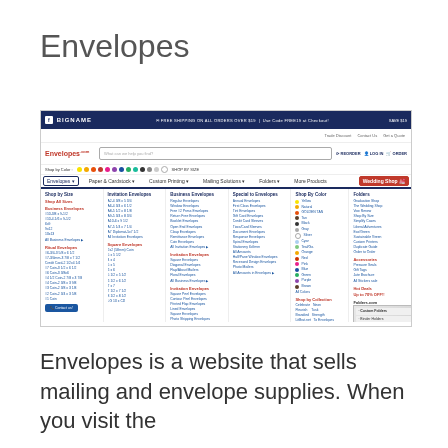Envelopes
[Figure (screenshot): Screenshot of the Envelopes.com website showing a navigation menu with categories including Shop by Size, Shop by Category, Shop by Color, and Folders.com. The site header shows 'FREE SHIPPING ON ALL ORDERS OVER $19' and has a search bar, reorder/log in/cart buttons.]
Envelopes is a website that sells mailing and envelope supplies. When you visit the